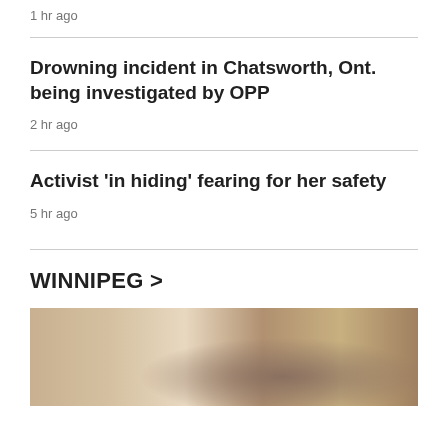1 hr ago
Drowning incident in Chatsworth, Ont. being investigated by OPP
2 hr ago
Activist 'in hiding' fearing for her safety
5 hr ago
WINNIPEG >
[Figure (photo): Person wearing a medical mask and glasses with hair pulled back, viewed from behind/side, in an indoor setting with wooden door frame]